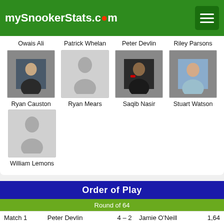mySnookerStats.com
Owais Ali
Patrick Whelan
Peter Devlin
Riley Parsons
[Figure (photo): Photo of Ryan Causton - young man smiling]
[Figure (photo): Silhouette placeholder for Ryan Mears]
[Figure (photo): Photo of Saqib Nasir - man with microphone]
[Figure (photo): Photo of Stuart Watson - man smiling]
Ryan Causton
Ryan Mears
Saqib Nasir
Stuart Watson
[Figure (photo): Silhouette placeholder for William Lemons]
William Lemons
Order of Play
Round of 64
Match 1   Peter Devlin   4 – 2   Jamie O'Neill   1,64